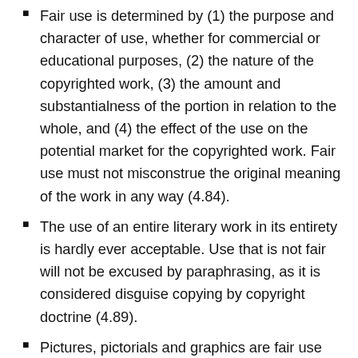Fair use is determined by (1) the purpose and character of use, whether for commercial or educational purposes, (2) the nature of the copyrighted work, (3) the amount and substantialness of the portion in relation to the whole, and (4) the effect of the use on the potential market for the copyrighted work. Fair use must not misconstrue the original meaning of the work in any way (4.84).
The use of an entire literary work in its entirety is hardly ever acceptable. Use that is not fair will not be excused by paraphrasing, as it is considered disguise copying by copyright doctrine (4.89).
Pictures, pictorials and graphics are fair use when providing “visual context” to the text. Unlike the fair use rules applicable to